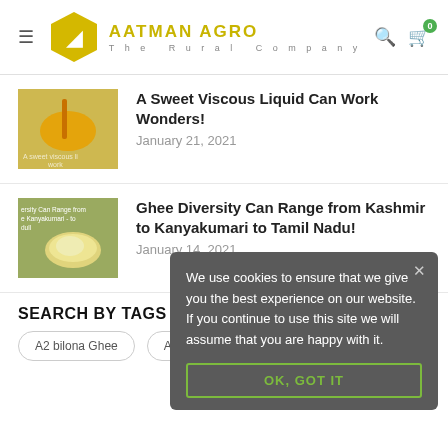AATMAN AGRO The Rural Company
A Sweet Viscous Liquid Can Work Wonders!
January 21, 2021
Ghee Diversity Can Range from Kashmir to Kanyakumari to Tamil Nadu!
January 14, 2021
SEARCH BY TAGS
A2 bilona Ghee
A2 desi cow ghee online
We use cookies to ensure that we give you the best experience on our website. If you continue to use this site we will assume that you are happy with it.
OK, GOT IT